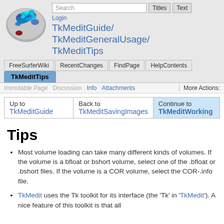[Figure (screenshot): FreeSurfer brain MRI visualization with blue/cyan activation overlay on gray brain surface]
Login TkMeditGuide/ TkMeditGeneralUsage/ TkMeditTips
TkMeditTips
Immutable Page   Discussion   Info   Attachments   More Actions:
| Up to
TkMeditGuide | Back to
TkMeditSavingImages | Continue to
TkMeditWorking |
Tips
Most volume loading can take many different kinds of volumes. If the volume is a bfloat or bshort volume, select one of the .bfloat or .bshort files. If the volume is a COR volume, select the COR-.info file.
TkMedit uses the Tk toolkit for its interface (the 'Tk' in 'TkMedit'). A nice feature of this toolkit is that all